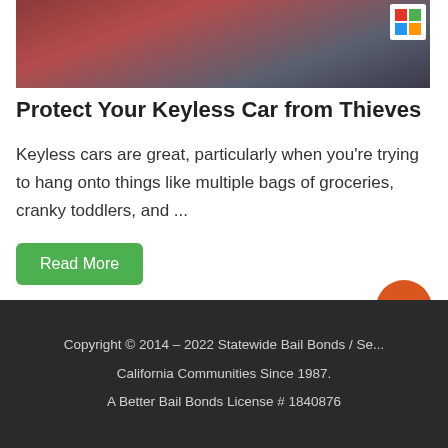[Figure (photo): Person in plaid shirt near a car, with Statewide Bail Bonds logo badge in top right corner]
Protect Your Keyless Car from Thieves
Keyless cars are great, particularly when you're trying to hang onto things like multiple bags of groceries, cranky toddlers, and ...
Read More
Copyright © 2014 – 2022 Statewide Bail Bonds / Se... California Communities Since 1987. A Better Bail Bonds License # 1840876